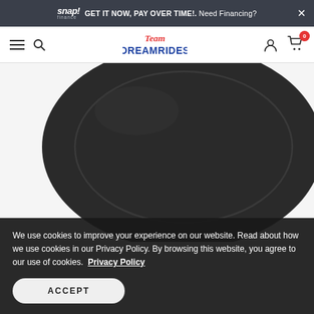snap! finance — GET IT NOW, PAY OVER TIME!. Need Financing? ×
[Figure (logo): Team DreamRides logo with hamburger menu, search icon, user icon and cart icon with badge showing 0]
[Figure (photo): Close-up photo of a black leather seat cushion/pad with rounded oval shape and stitched inner oval detail, on white background]
We use cookies to improve your experience on our website. Read about how we use cookies in our Privacy Policy. By browsing this website, you agree to our use of cookies.  Privacy Policy
ACCEPT